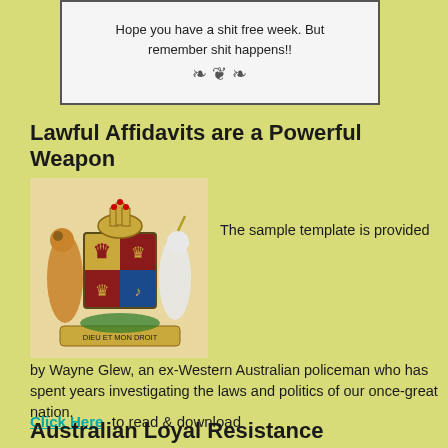[Figure (illustration): Framed box with text: Hope you have a shit free week. But remember shit happens!! with decorative ornament]
Lawful Affidavits are a Powerful Weapon
[Figure (illustration): Royal coat of arms with lion and unicorn, shield with lions and harp, crown on top, motto DIEU ET MON DROIT]
The sample template is provided by Wayne Glew, an ex-Western Australian policeman who has spent years investigating the laws and politics of our once-great nation.
Click Here  to read & download
Australian Loyal Resistance